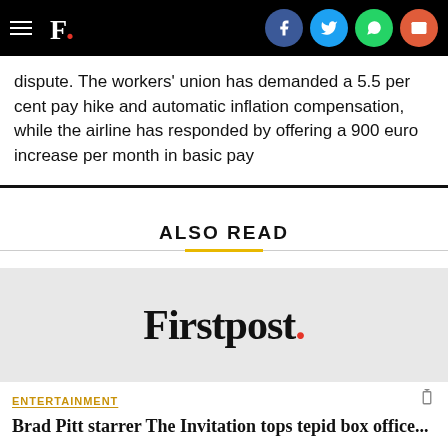F. [Firstpost logo with hamburger menu and social share icons: Facebook, Twitter, WhatsApp, Email]
dispute. The workers' union has demanded a 5.5 per cent pay hike and automatic inflation compensation, while the airline has responded by offering a 900 euro increase per month in basic pay
ALSO READ
[Figure (logo): Firstpost logo — large serif text 'Firstpost' with a red period, on light grey background]
ENTERTAINMENT
Brad Pitt starrer The Invitation tops tepid box office...